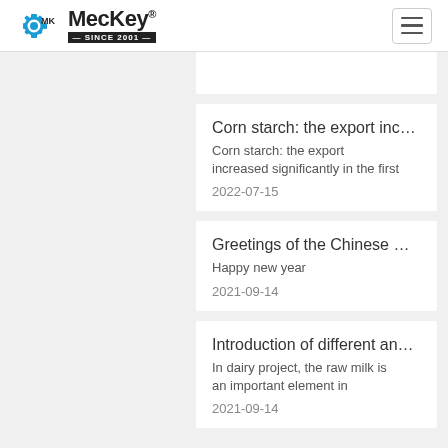MecKey® — SINCE 2001 —
Corn starch: the export inc…
Corn starch: the export increased significantly in the first
2022-07-15
Greetings of the Chinese …
Happy new year
2021-09-14
Introduction of different an…
In dairy project, the raw milk is an important element in
2021-09-14